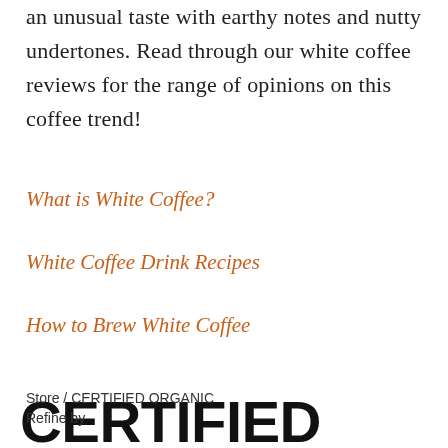an unusual taste with earthy notes and nutty undertones. Read through our white coffee reviews for the range of opinions on this coffee trend!
What is White Coffee?
White Coffee Drink Recipes
How to Brew White Coffee
CERTIFIED ORGANIC
Store / CERTIFIED ORGANIC
Refine by